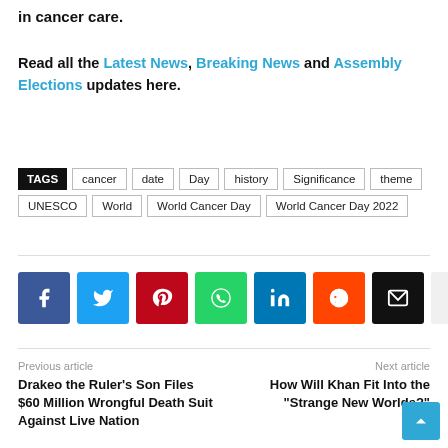in cancer care.
Read all the Latest News, Breaking News and Assembly Elections updates here.
TAGS cancer date Day history Significance theme UNESCO World World Cancer Day World Cancer Day 2022
[Figure (infographic): Social share buttons: Facebook, Twitter, Pinterest, WhatsApp, LinkedIn, Reddit, Email, More]
Previous article
Drakeo the Ruler's Son Files $60 Million Wrongful Death Suit Against Live Nation
Next article
How Will Khan Fit Into the "Strange New Worlds?"